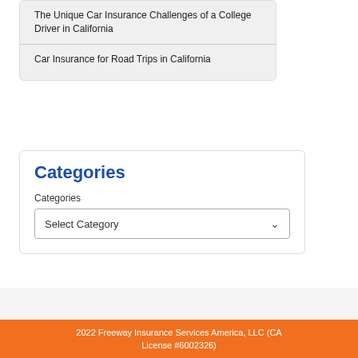The Unique Car Insurance Challenges of a College Driver in California
Car Insurance for Road Trips in California
Categories
Categories
Select Category
2022 Freeway Insurance Services America, LLC (CA License #6002326)